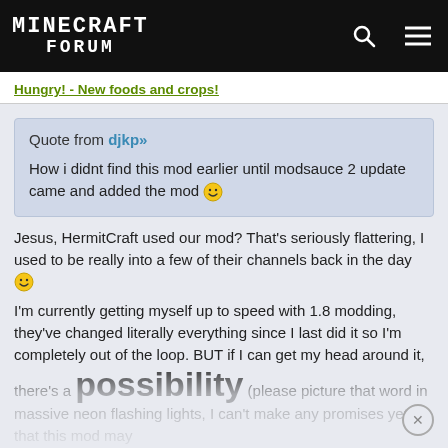MINECRAFT FORUM
Hungry! - New foods and crops!
Quote from djkp»

How i didnt find this mod earlier until modsauce 2 update came and added the mod :)
Jesus, HermitCraft used our mod? That's seriously flattering, I used to be really into a few of their channels back in the day :)
I'm currently getting myself up to speed with 1.8 modding, they've changed literally everything since I last did it so I'm completely out of the loop. BUT if I can get my head around it, there's a possibility (please picture that word in massive neon flashing lights, I can't make any promises yet) that this mod may be coming back from the dead. I'm really enjoying work at the minute and my life is generally in a pretty good place, so I'm starting to get the urge to dive back in again.